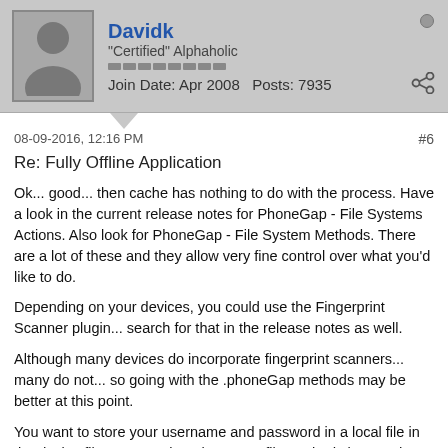Davidk
"Certified" Alphaholic
Join Date: Apr 2008  Posts: 7935
08-09-2016, 12:16 PM
#6
Re: Fully Offline Application
Ok... good... then cache has nothing to do with the process. Have a look in the current release notes for PhoneGap - File Systems Actions. Also look for PhoneGap - File System Methods. There are a lot of these and they allow very fine control over what you'd like to do.
Depending on your devices, you could use the Fingerprint Scanner plugin... search for that in the release notes as well.
Although many devices do incorporate fingerprint scanners... many do not... so going with the .phoneGap methods may be better at this point.
You want to store your username and password in a local file in the device file system. The .phoneGap file methods let you do this.
There are a lot of .phoneGap file methods. You'd use the client-side event onPhoneGapReady to start the process and see if your "security" file (call it whatever you like) exists. If it does exist, then